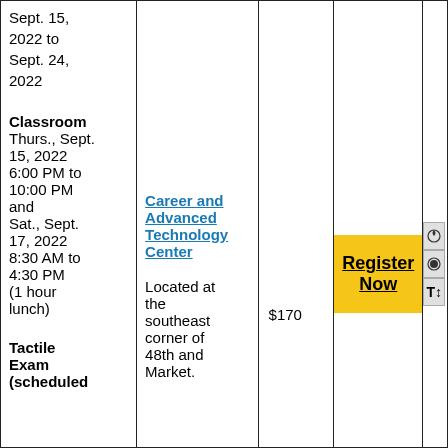| Date/Time | Location | Cost | Register | UI |
| --- | --- | --- | --- | --- |
| Sept. 15, 2022 to Sept. 24, 2022

Classroom
Thurs., Sept. 15, 2022 6:00 PM to 10:00 PM and Sat., Sept. 17, 2022 8:30 AM to 4:30 PM (1 hour lunch)

Tactile Exam (scheduled | Career and Advanced Technology Center

Located at the southeast corner of 48th and Market. | $170 | Register Now |  |